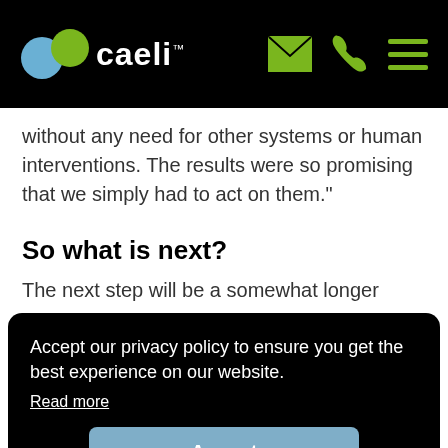caeli™
without any need for other systems or human interventions. The results were so promising that we simply had to act on them."
So what is next?
The next step will be a somewhat longer
Accept our privacy policy to ensure you get the best experience on our website.
Read more
Accept
"For now, we have come up with a marketable